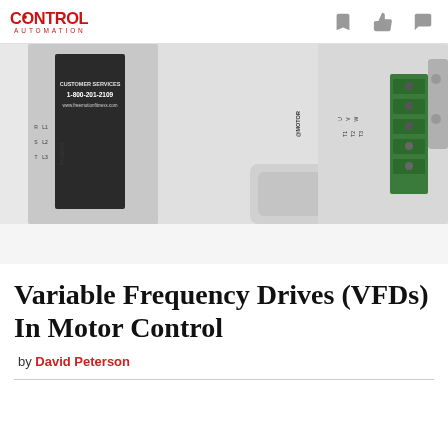CONTROL AUTOMATION
[Figure (photo): Close-up photo of a Variable Frequency Drive (VFD) device showing power and motor terminal labels including R, S, T, L1, L2, L3, POWER on the left side and MOTOR, U, V, W, T1, T2, T3 on the right side, with green terminal blocks and wiring visible. A label shows CUSTOMER SERVICES 1-800-201-2109 www.freemotionfitness.com]
Variable Frequency Drives (VFDs) In Motor Control
by David Peterson